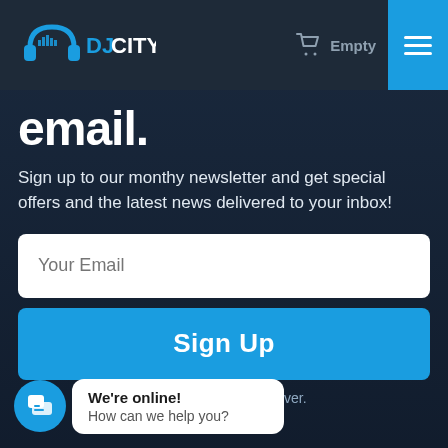[Figure (logo): DJ City logo with headphones icon in blue and white text]
Empty
email.
Sign up to our monthy newsletter and get special offers and the latest news delivered to your inbox!
Your Email
Sign Up
We don't send spam, ever.
here.
We're online!
How can we help you?